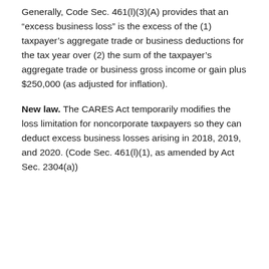Generally, Code Sec. 461(l)(3)(A) provides that an “excess business loss” is the excess of the (1) taxpayer’s aggregate trade or business deductions for the tax year over (2) the sum of the taxpayer’s aggregate trade or business gross income or gain plus $250,000 (as adjusted for inflation).
New law. The CARES Act temporarily modifies the loss limitation for noncorporate taxpayers so they can deduct excess business losses arising in 2018, 2019, and 2020. (Code Sec. 461(l)(1), as amended by Act Sec. 2304(a))